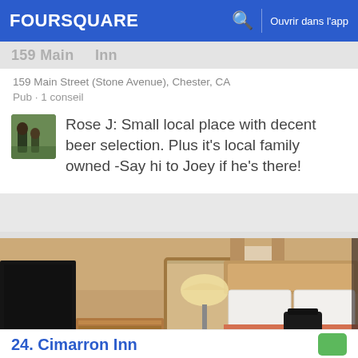FOURSQUARE   Ouvrir dans l'app
159 Main Street (Stone Avenue), Chester, CA
Pub · 1 conseil
Rose J: Small local place with decent beer selection. Plus it's local family owned -Say hi to Joey if he's there!
[Figure (photo): Hotel room photo showing a bed with red/orange bedspread, white pillows, wooden headboard, lamp, TV, dresser, and mirror]
24. Cimarron Inn